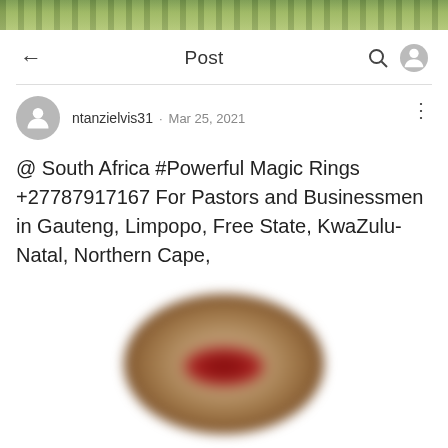[Figure (photo): Top banner showing green foliage/trees image strip]
Post
ntanzielvis31 · Mar 25, 2021
@ South Africa #Powerful Magic Rings +27787917167 For Pastors and Businessmen in Gauteng, Limpopo, Free State, KwaZulu-Natal, Northern Cape,
[Figure (photo): Blurred image of a ring with reddish stone, tan/gold band]